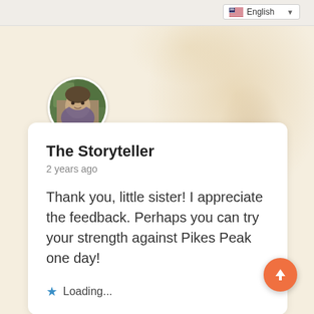[Figure (screenshot): Screenshot of a website comment/reply section with English language selector in top-right, decorative watercolor background, user avatar photo, and a comment card.]
English
The Storyteller
2 years ago
Thank you, little sister! I appreciate the feedback. Perhaps you can try your strength against Pikes Peak one day!
Loading...